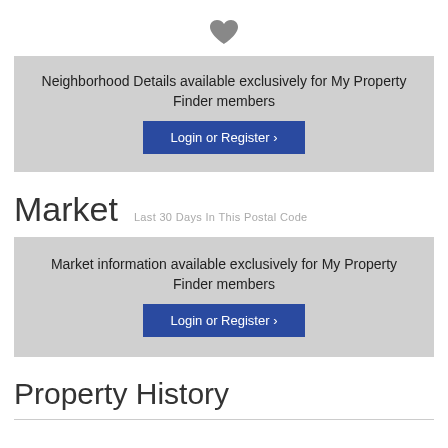[Figure (illustration): Heart icon in grey]
Neighborhood Details available exclusively for My Property Finder members
Login or Register ›
Market   Last 30 Days In This Postal Code
Market information available exclusively for My Property Finder members
Login or Register ›
Property History